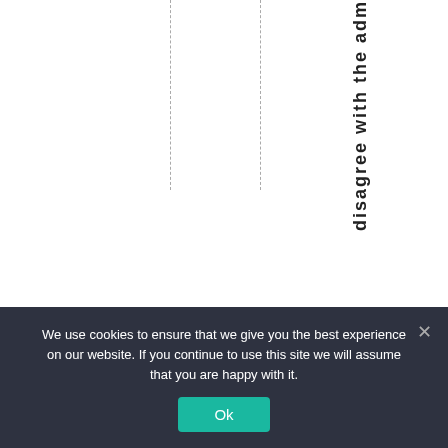[Figure (other): Table/chart fragment showing vertical dashed column separator lines with rotated vertical text reading 'disagree with the adm' visible along the right side, against a white background.]
We use cookies to ensure that we give you the best experience on our website. If you continue to use this site we will assume that you are happy with it.
Ok